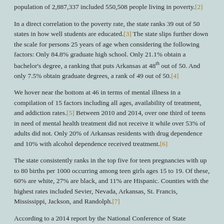population of 2,887,337 included 550,508 people living in poverty.[2]
In a direct correlation to the poverty rate, the state ranks 39 out of 50 states in how well students are educated.[3] The state slips further down the scale for persons 25 years of age when considering the following factors: Only 84.8% graduate high school. Only 21.1% obtain a bachelor's degree, a ranking that puts Arkansas at 48th out of 50. And only 7.5% obtain graduate degrees, a rank of 49 out of 50.[4]
We hover near the bottom at 46 in terms of mental illness in a compilation of 15 factors including all ages, availability of treatment, and addiction rates.[5] Between 2010 and 2014, over one third of teens in need of mental health treatment did not receive it while over 53% of adults did not. Only 20% of Arkansas residents with drug dependence and 10% with alcohol dependence received treatment.[6]
The state consistently ranks in the top five for teen pregnancies with up to 80 births per 1000 occurring among teen girls ages 15 to 19. Of these, 60% are white, 27% are black, and 11% are Hispanic. Counties with the highest rates included Sevier, Nevada, Arkansas, St. Francis, Mississippi, Jackson, and Randolph.[7]
According to a 2014 report by the National Conference of State Legislatures: